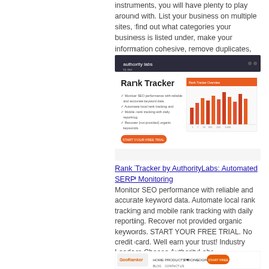instruments, you will have plenty to play around with. List your business on multiple sites, find out what categories your business is listed under, make your information cohesive, remove duplicates, keep an eye on your businesss reputation and more.
[Figure (screenshot): Screenshot of Authority Labs Rank Tracker tool page showing a bar chart of SEO performance data with an orange header bar and a 'Start Your Free Trial' button.]
Rank Tracker by AuthorityLabs: Automated SERP Monitoring
Monitor SEO performance with reliable and accurate keyword data. Automate local rank tracking and mobile rank tracking with daily reporting. Recover not provided organic keywords. START YOUR FREE TRIAL. No credit card. Well earn your trust! Industry Leaders Choose AuthorityLabs.
[Figure (screenshot): Partial screenshot of GeoRanker website showing navigation with logo, Home, Products, Pricing, Login, and Start Free buttons.]